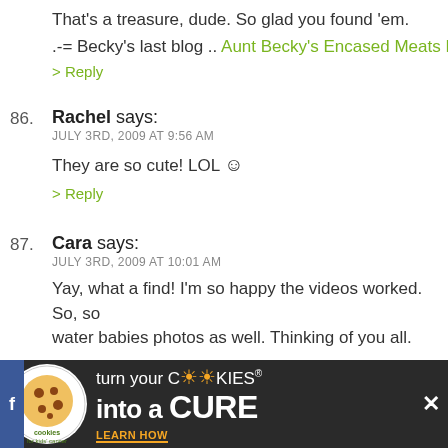That's a treasure, dude. So glad you found 'em.
.-= Becky's last blog .. Aunt Becky's Encased Meats Emp
> Reply
86. Rachel says: JULY 3RD, 2009 AT 9:56 AM — They are so cute! LOL :) > Reply
87. Cara says: JULY 3RD, 2009 AT 10:01 AM — Yay, what a find! I'm so happy the videos worked. So, so water babies photos as well. Thinking of you all. > Reply
88. habanerogal says: JULY 3RD, 2009 AT 10:06 AM — what an unbelievable treasure so glad the card held up
[Figure (infographic): Advertisement banner: cookies for kids cancer - turn your cookies into a CURE LEARN HOW]